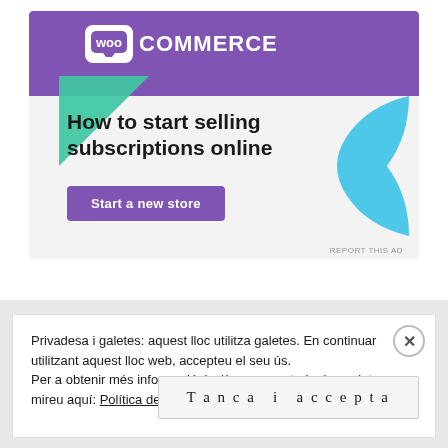[Figure (screenshot): WooCommerce advertisement banner with purple header, green triangle, cyan blob shape, headline 'How to start selling subscriptions online', and a purple 'Start a new store' CTA button on a light gray background.]
Privadesa i galetes: aquest lloc utilitza galetes. En continuar utilitzant aquest lloc web, accepteu el seu ús.
Per a obtenir més informació, inclòs com controlar les galetes, mireu aquí: Política de galetes
Tanca i accepta